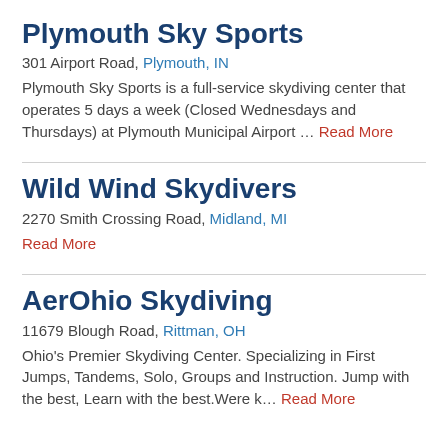Plymouth Sky Sports
301 Airport Road, Plymouth, IN
Plymouth Sky Sports is a full-service skydiving center that operates 5 days a week (Closed Wednesdays and Thursdays) at Plymouth Municipal Airport … Read More
Wild Wind Skydivers
2270 Smith Crossing Road, Midland, MI
Read More
AerOhio Skydiving
11679 Blough Road, Rittman, OH
Ohio's Premier Skydiving Center. Specializing in First Jumps, Tandems, Solo, Groups and Instruction. Jump with the best, Learn with the best.Were k… Read More